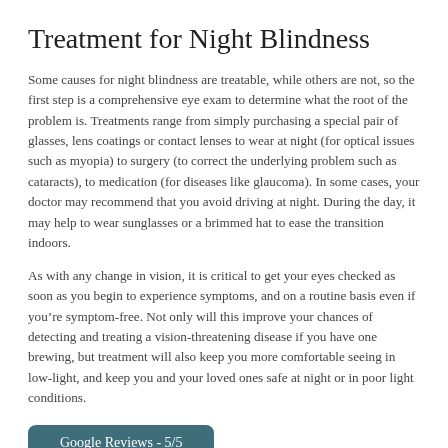Treatment for Night Blindness
Some causes for night blindness are treatable, while others are not, so the first step is a comprehensive eye exam to determine what the root of the problem is. Treatments range from simply purchasing a special pair of glasses, lens coatings or contact lenses to wear at night (for optical issues such as myopia) to surgery (to correct the underlying problem such as cataracts), to medication (for diseases like glaucoma). In some cases, your doctor may recommend that you avoid driving at night. During the day, it may help to wear sunglasses or a brimmed hat to ease the transition indoors.
As with any change in vision, it is critical to get your eyes checked as soon as you begin to experience symptoms, and on a routine basis even if you’re symptom-free. Not only will this improve your chances of detecting and treating a vision-threatening disease if you have one brewing, but treatment will also keep you more comfortable seeing in low-light, and keep you and your loved ones safe at night or in poor light conditions.
Google Reviews - 5/5